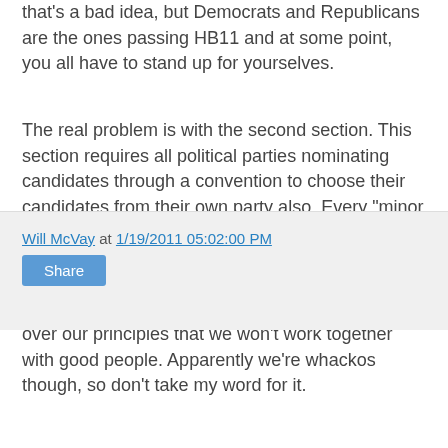that's a bad idea, but Democrats and Republicans are the ones passing HB11 and at some point, you all have to stand up for yourselves.
The real problem is with the second section. This section requires all political parties nominating candidates through a convention to choose their candidates from their own party also. Every "minor political party" chooses ALL of its candidates through convention. Sometimes we like people who aren't in our own party and we're not so set on promoting our own organizational interests over our principles that we won't work together with good people. Apparently we're whackos though, so don't take my word for it.
HB11 doesn't just tell primary voters who they can vote for, it tells entire political parties who they can and can't nominate for elected office. Everything else is a sideshow.
Will McVay at 1/19/2011 05:02:00 PM
Share